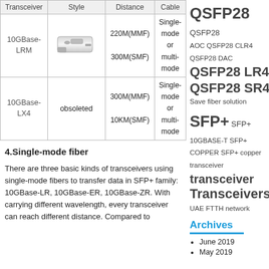| Transceiver | Style | Distance | Cable |
| --- | --- | --- | --- |
| 10GBase-LRM | [image] | 220M(MMF)
300M(SMF) | Single-mode or multi-mode |
| 10GBase-LX4 | obsoleted | 300M(MMF)
10KM(SMF) | Single-mode or multi-mode |
4.Single-mode fiber
There are three basic kinds of transceivers using single-mode fibers to transfer data in SFP+ family: 10GBase-LR, 10GBase-ER, 10GBase-ZR. With carrying different wavelength, every transceiver can reach different distance. Compared to...
QSFP28 QSFP28 AOC QSFP28 CLR4 QSFP28 DAC QSFP28 LR4 QSFP28 SR4 Save fiber solution SFP+ SFP+ 10GBASE-T SFP+ COPPER SFP+ copper transceiver transceiver Transceivers UAE FTTH network
Archives
June 2019
May 2019